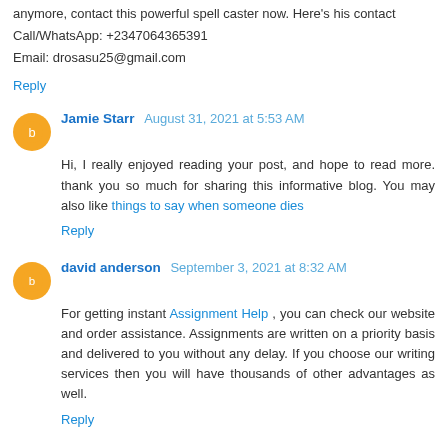anymore, contact this powerful spell caster now. Here's his contact
Call/WhatsApp: +2347064365391
Email: drosasu25@gmail.com
Reply
Jamie Starr  August 31, 2021 at 5:53 AM
Hi, I really enjoyed reading your post, and hope to read more. thank you so much for sharing this informative blog. You may also like things to say when someone dies
Reply
david anderson  September 3, 2021 at 8:32 AM
For getting instant Assignment Help , you can check our website and order assistance. Assignments are written on a priority basis and delivered to you without any delay. If you choose our writing services then you will have thousands of other advantages as well.
Reply